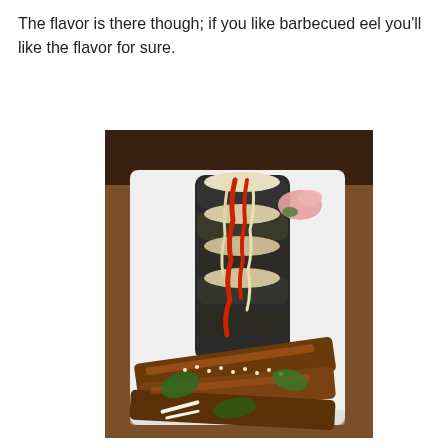The flavor is there though; if you like barbecued eel you'll like the flavor for sure.
[Figure (photo): A white rectangular plate with sushi rolls topped with red sauce and cream sauce, alongside pieces of glazed barbecued eel garnished with sesame seeds and green leaves, served on a wooden table.]